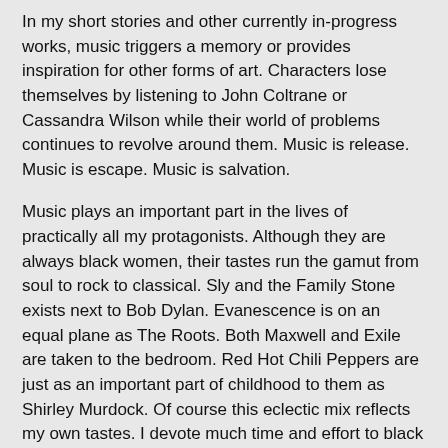In my short stories and other currently in-progress works, music triggers a memory or provides inspiration for other forms of art. Characters lose themselves by listening to John Coltrane or Cassandra Wilson while their world of problems continues to revolve around them. Music is release. Music is escape. Music is salvation.
Music plays an important part in the lives of practically all my protagonists. Although they are always black women, their tastes run the gamut from soul to rock to classical. Sly and the Family Stone exists next to Bob Dylan. Evanescence is on an equal plane as The Roots. Both Maxwell and Exile are taken to the bedroom. Red Hot Chili Peppers are just as an important part of childhood to them as Shirley Murdock. Of course this eclectic mix reflects my own tastes. I devote much time and effort to black female music artists, but like most people, I do not exclusively listen to them. Music is so much larger than that. Still, I will continue to champion black women who make distinctive marks on the music world. In the meantime, the likes of Keane, Coldplay and Mars Volta also keep me company.